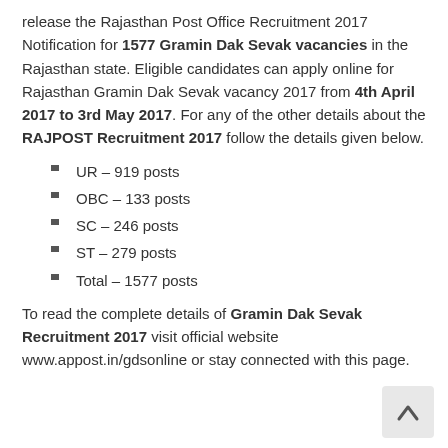release the Rajasthan Post Office Recruitment 2017 Notification for 1577 Gramin Dak Sevak vacancies in the Rajasthan state. Eligible candidates can apply online for Rajasthan Gramin Dak Sevak vacancy 2017 from 4th April 2017 to 3rd May 2017. For any of the other details about the RAJPOST Recruitment 2017 follow the details given below.
UR – 919 posts
OBC  – 133 posts
SC – 246 posts
ST – 279 posts
Total – 1577 posts
To read the complete details of Gramin Dak Sevak Recruitment 2017 visit official website www.appost.in/gdsonline or stay connected with this page.